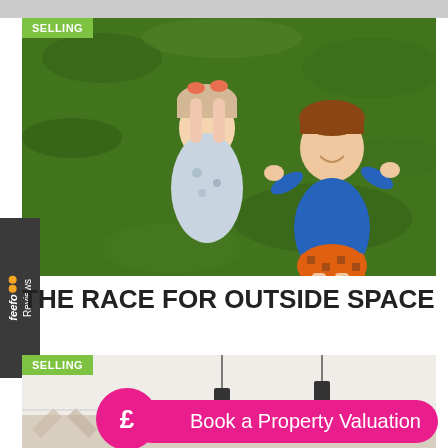[Figure (photo): Two children lying on green grass viewed from above, a girl in a floral dress and a boy in a blue shirt and patterned shorts]
SELLING
THE RACE FOR OUTSIDE SPACE
[Figure (photo): Interior room with herringbone floor, pendant lights — partially visible]
SELLING
Book a Property Valuation